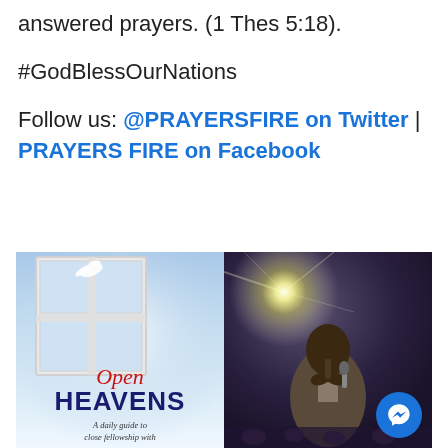answered prayers. (1 Thes 5:18).
#GodBlessOurNations
Follow us: @PRAYERSFIRE on Twitter | PRAYERS FIRE on Facebook
[Figure (photo): Composite image: left side shows the Open Heavens book cover with a window, dove, sky background, and text reading 'Open HEAVENS - A daily guide to close fellowship with'; right side shows a man in a suit praying with hands clasped, with a bright stage light flare behind him. A blue Facebook Messenger button is overlaid in the bottom right.]